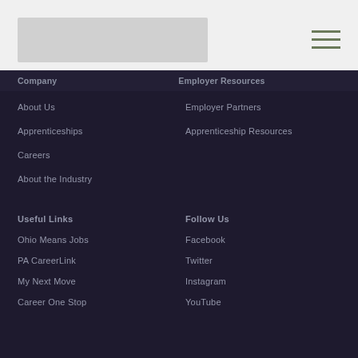[Logo]
Company
Employer Resources
About Us
Apprenticeships
Careers
About the Industry
Employer Partners
Apprenticeship Resources
Useful Links
Follow Us
Ohio Means Jobs
PA CareerLink
My Next Move
Career One Stop
Facebook
Twitter
Instagram
YouTube